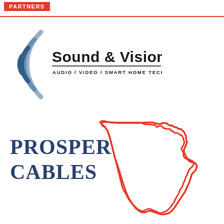PARTNERS
[Figure (logo): Sound & Vision Audio / Video / Smart Home Technology logo with blue concentric arc waves on the left and bold text on the right]
[Figure (logo): Prosper Cables logo with dark blue serif text on the left and a red outline of the state of Texas on the right]